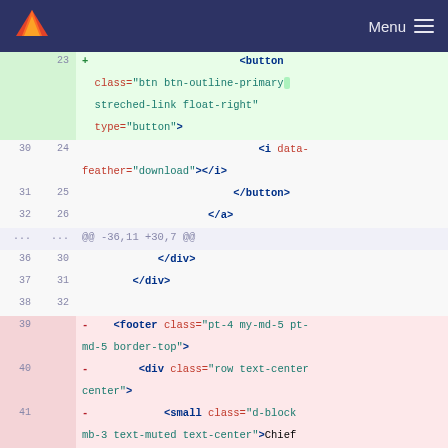GitLab Menu
[Figure (screenshot): A GitLab code diff view showing HTML template changes. Added lines (green background) show a button element with class 'btn btn-outline-primary streched-link float-right' and type='button', containing an icon with data-feather='download', closing button and anchor tags. Context lines show closing div tags. Removed lines (red/pink background) show footer, div, small, and closing div elements with Bootstrap CSS classes.]
23 + <button class="btn btn-outline-primary streched-link float-right" type="button">
30 24 <i data-feather="download"></i>
31 25 </button>
32 26 </a>
... ... @@ -36,11 +30,7 @@
36 30 </div>
37 31 </div>
38 32
39 - <footer class="pt-4 my-md-5 pt-md-5 border-top">
40 - <div class="row text-center center">
41 - <small class="d-block mb-3 text-muted text-center">Chief Corporation &copy; 2020</small>
42 - </div>